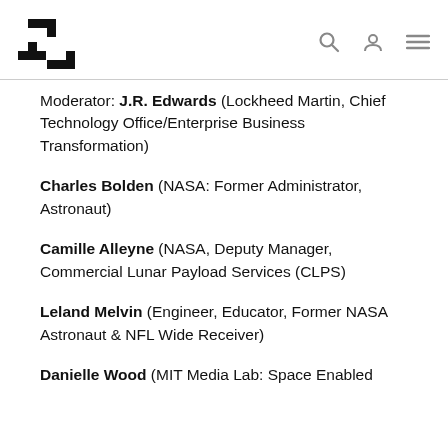[Logo: I4 / Innovation for Defense] [search icon] [user icon] [menu icon]
Moderator: J.R. Edwards (Lockheed Martin, Chief Technology Office/Enterprise Business Transformation)
Charles Bolden (NASA: Former Administrator, Astronaut)
Camille Alleyne (NASA, Deputy Manager, Commercial Lunar Payload Services (CLPS)
Leland Melvin (Engineer, Educator, Former NASA Astronaut & NFL Wide Receiver)
Danielle Wood (MIT Media Lab: Space Enabled...